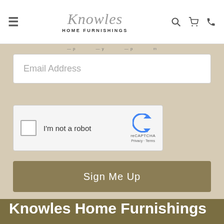Knowles Home Furnishings
[Figure (screenshot): Email Address input field with placeholder text]
[Figure (screenshot): reCAPTCHA widget with checkbox labeled I'm not a robot]
[Figure (screenshot): Sign Me Up button in olive/tan color]
Knowles Home Furnishings